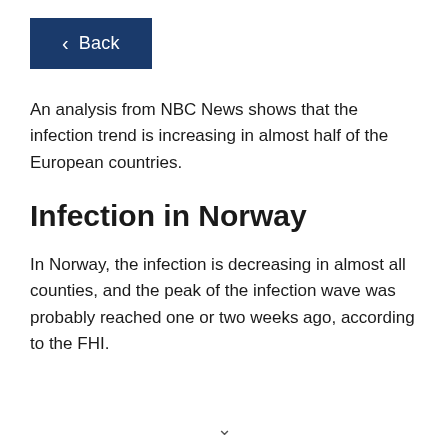< Back
An analysis from NBC News shows that the infection trend is increasing in almost half of the European countries.
Infection in Norway
In Norway, the infection is decreasing in almost all counties, and the peak of the infection wave was probably reached one or two weeks ago, according to the FHI.